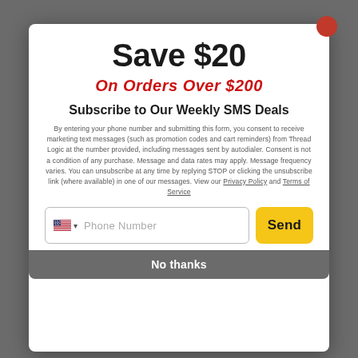Save $20
On Orders Over $200
Subscribe to Our Weekly SMS Deals
By entering your phone number and submitting this form, you consent to receive marketing text messages (such as promotion codes and cart reminders) from Thread Logic at the number provided, including messages sent by autodialer. Consent is not a condition of any purchase. Message and data rates may apply. Message frequency varies. You can unsubscribe at any time by replying STOP or clicking the unsubscribe link (where available) in one of our messages. View our Privacy Policy and Terms of Service
Phone Number
Send
No thanks